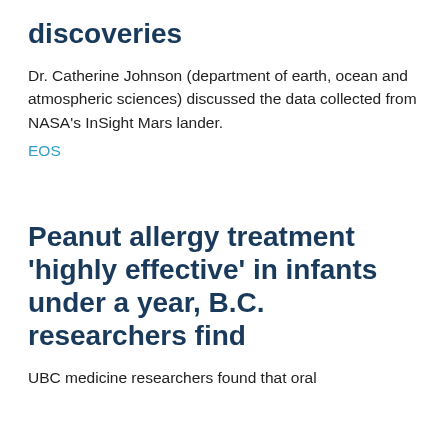discoveries
Dr. Catherine Johnson (department of earth, ocean and atmospheric sciences) discussed the data collected from NASA's InSight Mars lander.
EOS
Peanut allergy treatment 'highly effective' in infants under a year, B.C. researchers find
UBC medicine researchers found that oral